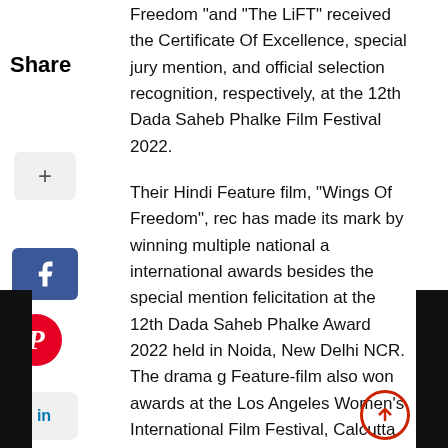Freedom “and “The LiFT” received the Certificate Of Excellence, special jury mention, and official selection recognition, respectively, at the 12th Dada Saheb Phalke Film Festival 2022.
Their Hindi Feature film, “Wings Of Freedom”, rec has made its mark by winning multiple national a international awards besides the special mention felicitation at the 12th Dada Saheb Phalke Award 2022 held in Noida, New Delhi NCR. The drama g Feature-film also won awards at the Los Angeles Women's International Film Festival, Calcutta International Cult Film Festival, First-Time Filmm Sessions By Lift-Off Global Network, and more.
“Wings Of Freedom” even won awards in three major categories at the INDO-Singapore International Film Festival as well. The Feature film received the “Best